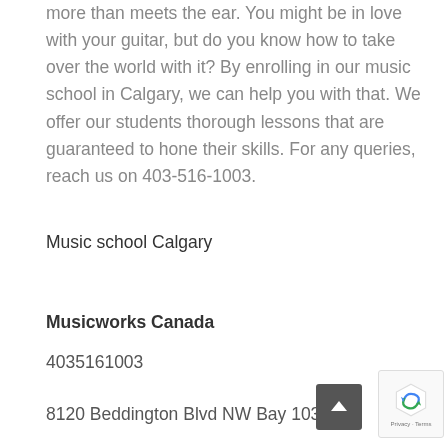more than meets the ear. You might be in love with your guitar, but do you know how to take over the world with it? By enrolling in our music school in Calgary, we can help you with that. We offer our students thorough lessons that are guaranteed to hone their skills. For any queries, reach us on 403-516-1003.
Music school Calgary
Musicworks Canada
4035161003
8120 Beddington Blvd NW Bay 103